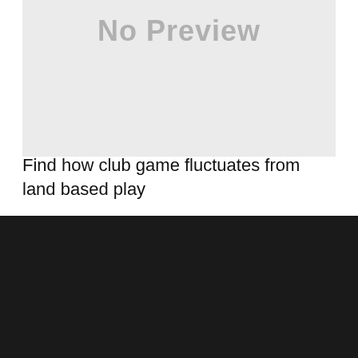[Figure (other): No Preview placeholder image with light gray background and gray 'No Preview' text]
Find how club game fluctuates from land based play
About Author
[Figure (illustration): Generic user avatar icon: circular gray background with white silhouette of a person]
Noah